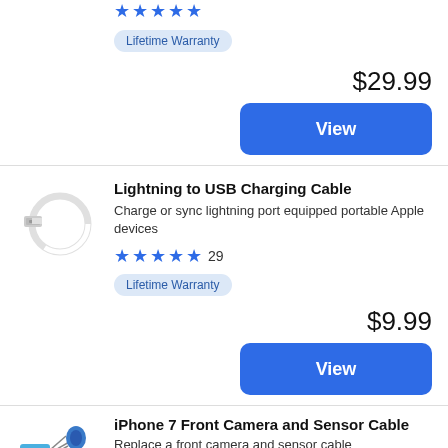[Figure (photo): Stars rating row (partial, top of page) showing 5 blue stars and a count, partially cropped]
Lifetime Warranty
$29.99
View
[Figure (photo): White Lightning to USB cable coiled, with USB connector visible]
Lightning to USB Charging Cable
Charge or sync lightning port equipped portable Apple devices
★★★★★ 29
Lifetime Warranty
$9.99
View
[Figure (photo): iPhone front camera and sensor cable component, partially visible at bottom]
iPhone 7 Front Camera and Sensor Cable
Replace a front camera and sensor cable